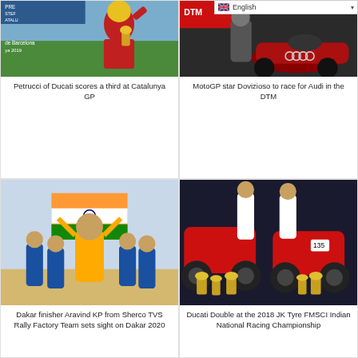[Figure (photo): MotoGP racer Petrucci on podium at Catalunya GP 2019, holding trophy, crowd in background]
Petrucci of Ducati scores a third at Catalunya GP
[Figure (photo): DTM race car in red/black with Audi branding at pit or paddock area]
MotoGP star Dovizioso to race for Audi in the DTM
[Figure (photo): Aravind KP and Sherco TVS Rally Factory Team members celebrating with Indian flag]
Dakar finisher Aravind KP from Sherco TVS Rally Factory Team sets sight on Dakar 2020
[Figure (photo): Ducati riders posing with red motorcycles and trophy cups at 2018 JK Tyre FMSCI Indian National Racing Championship]
Ducati Double at the 2018 JK Tyre FMSCI Indian National Racing Championship